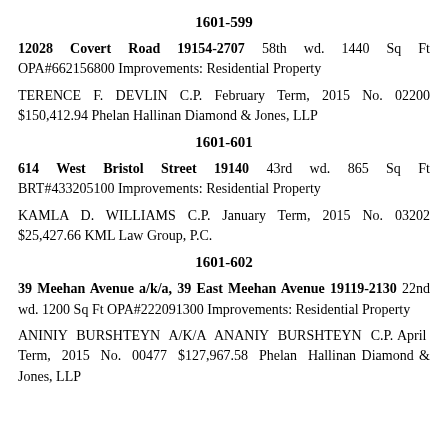1601-599
12028 Covert Road 19154-2707 58th wd. 1440 Sq Ft OPA#662156800 Improvements: Residential Property
TERENCE F. DEVLIN C.P. February Term, 2015 No. 02200 $150,412.94 Phelan Hallinan Diamond & Jones, LLP
1601-601
614 West Bristol Street 19140 43rd wd. 865 Sq Ft BRT#433205100 Improvements: Residential Property
KAMLA D. WILLIAMS C.P. January Term, 2015 No. 03202 $25,427.66 KML Law Group, P.C.
1601-602
39 Meehan Avenue a/k/a, 39 East Meehan Avenue 19119-2130 22nd wd. 1200 Sq Ft OPA#222091300 Improvements: Residential Property
ANINIY BURSHTEYN A/K/A ANANIY BURSHTEYN C.P. April Term, 2015 No. 00477 $127,967.58 Phelan Hallinan Diamond & Jones, LLP